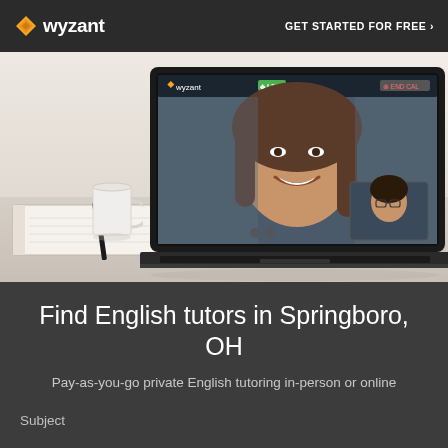wyzant | GET STARTED FOR FREE ›
[Figure (photo): Wyzant tutoring platform hero image showing a laptop on a desk with a video call interface, a white mug, notebook, and pen on a white/grey background. The laptop screen shows an online tutoring session with two people on a video call.]
Find English tutors in Springboro, OH
Pay-as-you-go private English tutoring in-person or online
Subject